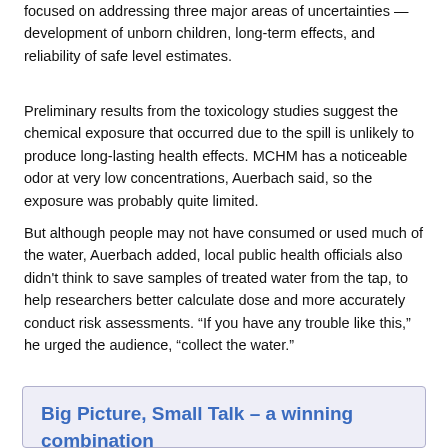focused on addressing three major areas of uncertainties — development of unborn children, long-term effects, and reliability of safe level estimates.
Preliminary results from the toxicology studies suggest the chemical exposure that occurred due to the spill is unlikely to produce long-lasting health effects. MCHM has a noticeable odor at very low concentrations, Auerbach said, so the exposure was probably quite limited.
But although people may not have consumed or used much of the water, Auerbach added, local public health officials also didn't think to save samples of treated water from the tap, to help researchers better calculate dose and more accurately conduct risk assessments. “If you have any trouble like this,” he urged the audience, “collect the water.”
Big Picture, Small Talk – a winning combination